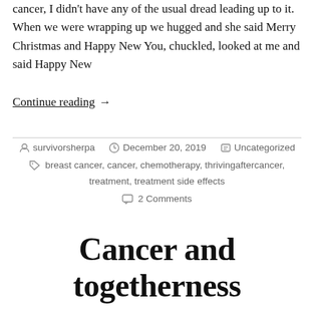cancer, I didn't have any of the usual dread leading up to it. When we were wrapping up we hugged and she said Merry Christmas and Happy New You, chuckled, looked at me and said Happy New
Continue reading →
survivorsherpa   December 20, 2019   Uncategorized   breast cancer, cancer, chemotherapy, thrivingaftercancer, treatment, treatment side effects   2 Comments
Cancer and togetherness